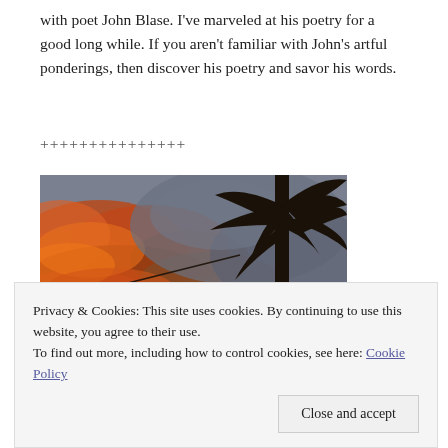with poet John Blase. I've marveled at his poetry for a good long while. If you aren't familiar with John's artful ponderings, then discover his poetry and savor his words.
+++++++++++++++
[Figure (photo): Sunset photo with vivid orange-red clouds and dark silhouette of palm tree fronds against a grey-blue sky]
Privacy & Cookies: This site uses cookies. By continuing to use this website, you agree to their use.
To find out more, including how to control cookies, see here: Cookie Policy
Close and accept